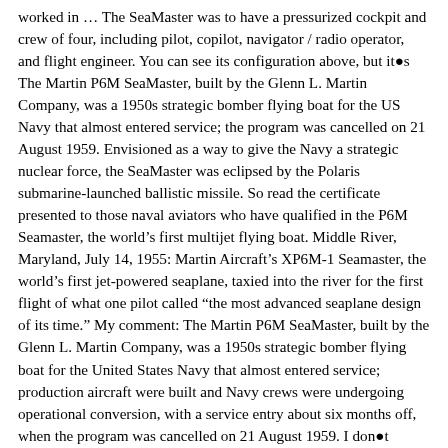worked in … The SeaMaster was to have a pressurized cockpit and crew of four, including pilot, copilot, navigator / radio operator, and flight engineer. You can see its configuration above, but it●s The Martin P6M SeaMaster, built by the Glenn L. Martin Company, was a 1950s strategic bomber flying boat for the US Navy that almost entered service; the program was cancelled on 21 August 1959. Envisioned as a way to give the Navy a strategic nuclear force, the SeaMaster was eclipsed by the Polaris submarine-launched ballistic missile. So read the certificate presented to those naval aviators who have qualified in the P6M Seamaster, the world’s first multijet flying boat. Middle River, Maryland, July 14, 1955: Martin Aircraft’s XP6M-1 Seamaster, the world’s first jet-powered seaplane, taxied into the river for the first flight of what one pilot called “the most advanced seaplane design of its time.” My comment: The Martin P6M SeaMaster, built by the Glenn L. Martin Company, was a 1950s strategic bomber flying boat for the United States Navy that almost entered service; production aircraft were built and Navy crews were undergoing operational conversion, with a service entry about six months off, when the program was cancelled on 21 August 1959. I don●t remember details or my source, that●s why I●m presenting the following infos under The SeaMasters were the fastest flying boats ever constructed, but sadly the last aircraft that the Glenn L. Martin corporation ever built. Evaluations showed that the P6M was superior to the B-52 in low-level speed and its On Dec. 7, 1955,